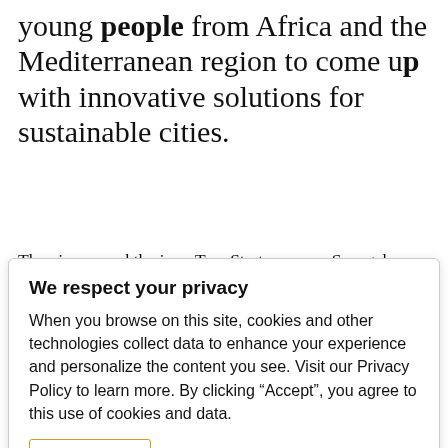young people from Africa and the Mediterranean region to come up with innovative solutions for sustainable cities.
They impressed the jury. Two Start-ups, one Senegalese, Sen Or'Dur, and the other Cameroonian, Promagric, won the “Jury Prize” and the “Coup du Coeur Prize” respectively during the final of the first edition of Medina start Africa, a competition...
We respect your privacy
When you browse on this site, cookies and other technologies collect data to enhance your experience and personalize the content you see. Visit our Privacy Policy to learn more. By clicking “Accept”, you agree to this use of cookies and data.
Accept
Initiative.